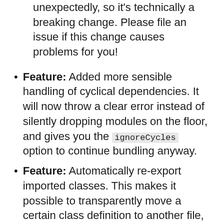unexpectedly, so it's technically a breaking change. Please file an issue if this change causes problems for you!
Feature: Added more sensible handling of cyclical dependencies. It will now throw a clear error instead of silently dropping modules on the floor, and gives you the ignoreCycles option to continue bundling anyway.
Feature: Automatically re-export imported classes. This makes it possible to transparently move a certain class definition to another file, without breaking existing imports. This can be disabled by changing the autoExportImports option.
Feature: icssify now uses PostCSS 8+, and therefore supports plugins in the